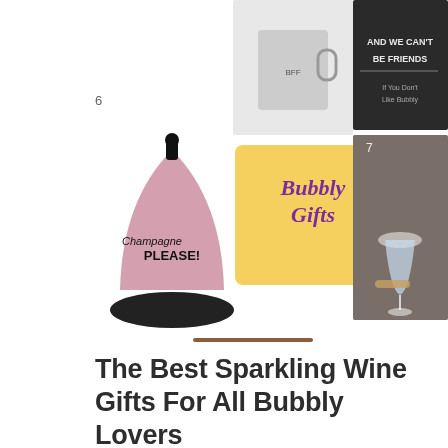[Figure (illustration): Collage of sparkling wine / champagne gift items including a pink 'Champagne Please!' desk bell (item 6), a 'Bubbly Gifts' yellow brush-stroke text graphic in center, a person holding a champagne glass (item 7) at top right, a stack of gift boxes at top center, and a 'And We Can't Be Friends' sign at top right.]
The Best Sparkling Wine Gifts For All Bubbly Lovers
[Figure (photo): Photo of decorated sugar cookies topped with whipped cream, blueberries, and strawberry pieces arranged on a star-patterned tablecloth, with a large red sparkling wine glass in the background decorated with firework/sparkler motifs.]